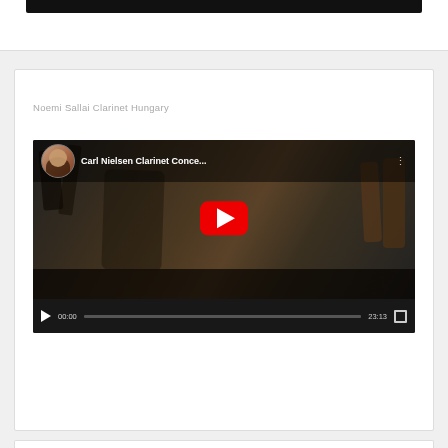[Figure (screenshot): Top portion of a webpage showing cut-off dark video player at the top]
Noemi Sallai Clarinet Hungary
[Figure (screenshot): YouTube video embed showing Carl Nielsen Clarinet Concerto performed by Noemi Sallai, with orchestra in background. Video is paused at 00:00 with total duration 23:13. Red YouTube play button visible in center.]
[Figure (screenshot): Bottom edge of another card/section beginning at page bottom]